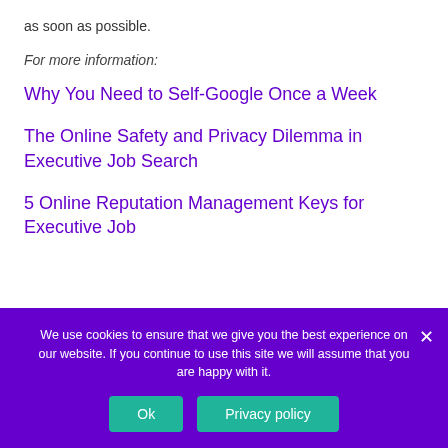as soon as possible.
For more information:
Why You Need to Self-Google Once a Week
The Online Safety and Privacy Dilemma in Executive Job Search
5 Online Reputation Management Keys for Executive Job
We use cookies to ensure that we give you the best experience on our website. If you continue to use this site we will assume that you are happy with it.